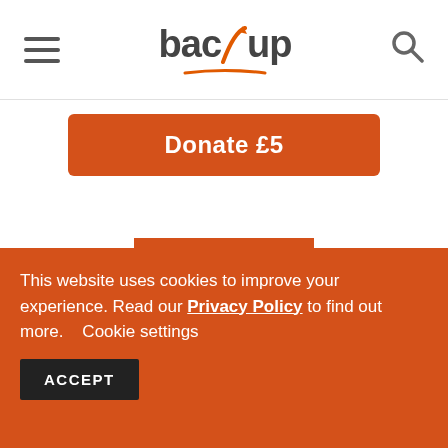[Figure (logo): Back Up charity logo with orange arrow accent and underline]
Donate £5
£10
[Figure (photo): Outdoor photo with trees and a smiling bald man, partially visible]
This website uses cookies to improve your experience. Read our Privacy Policy to find out more.    Cookie settings
ACCEPT